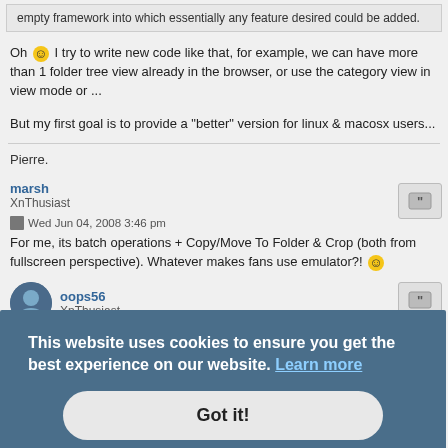empty framework into which essentially any feature desired could be added.
Oh 😊 I try to write new code like that, for example, we can have more than 1 folder tree view already in the browser, or use the category view in view mode or ...
But my first goal is to provide a "better" version for linux & macosx users...
Pierre.
marsh
XnThusiast
Wed Jun 04, 2008 3:46 pm
For me, its batch operations + Copy/Move To Folder & Crop (both from fullscreen perspective). Whatever makes fans use emulator?! 😊
oops56
XnThusiast
Wed Jun 04, 2008 4:17 pm
This website uses cookies to ensure you get the best experience on our website. Learn more
Got it!